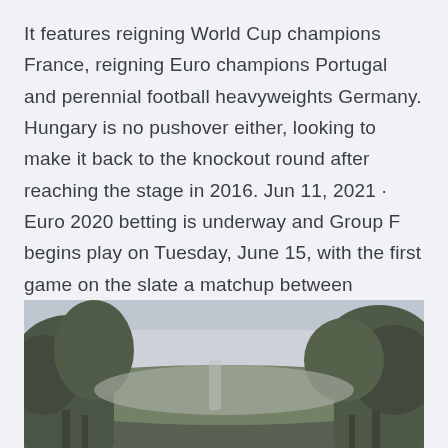It features reigning World Cup champions France, reigning Euro champions Portugal and perennial football heavyweights Germany. Hungary is no pushover either, looking to make it back to the knockout round after reaching the stage in 2016. Jun 11, 2021 · Euro 2020 betting is underway and Group F begins play on Tuesday, June 15, with the first game on the slate a matchup between defending European champions Portugal and Hungary. Both nations had Jun 14, 2021 · France face Germany in Euro 2020 at the Allianz Arena tonight.
[Figure (photo): Outdoor photo showing trees in the foreground with a blurred background, appears to be taken in a park or natural setting with trees and sky visible.]